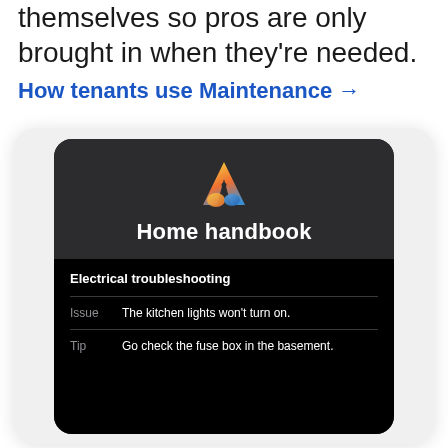themselves so pros are only brought in when they're needed.
How tenants use Maintenance →
[Figure (screenshot): Mobile app screenshot showing a dark-themed 'Home handbook' screen with a colorful logo, and an 'Electrical troubleshooting' section listing Issue: 'The kitchen lights won't turn on.' and Tip: 'Go check the fuse box in the basement.']